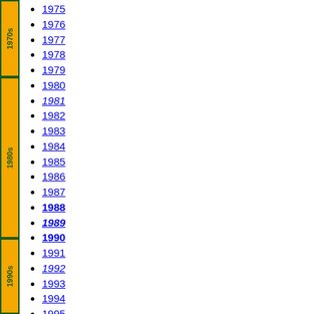1975
1976
1977
1978
1979
1980
1981
1982
1983
1984
1985
1986
1987
1988
1989
1990
1991
1992
1993
1994
1995
1996
1997
1998